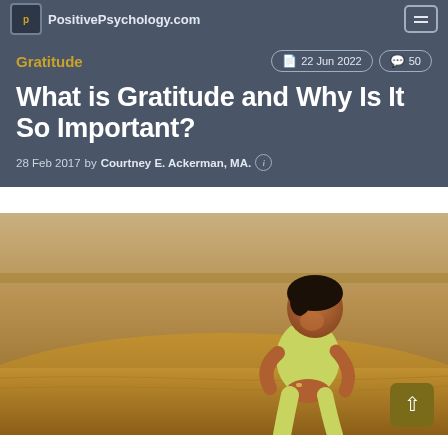PositivePsychology.com
Gratitude
22 Jun 2022  |  50
What is Gratitude and Why Is It So Important?
28 Feb 2017 by Courtney E. Ackerman, MA.
[Figure (photo): A young child sitting in sand with hands pressed together as if praying, photographed outdoors in warm sandy tones]